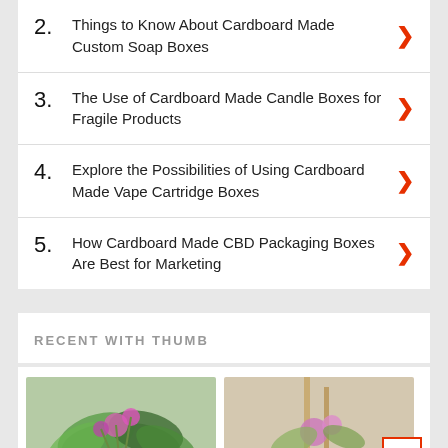2. Things to Know About Cardboard Made Custom Soap Boxes
3. The Use of Cardboard Made Candle Boxes for Fragile Products
4. Explore the Possibilities of Using Cardboard Made Vape Cartridge Boxes
5. How Cardboard Made CBD Packaging Boxes Are Best for Marketing
RECENT WITH THUMB
[Figure (photo): Two thumbnail images of floral arrangements partially visible at the bottom of the page]